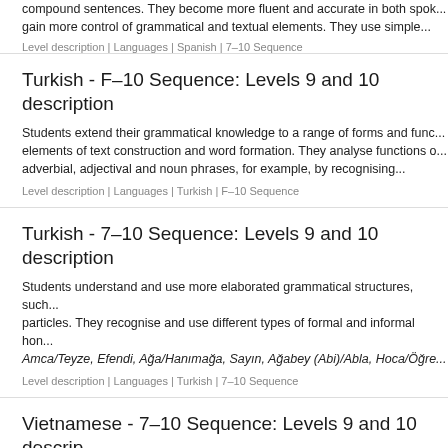compound sentences. They become more fluent and accurate in both spoken and written language and gain more control of grammatical and textual elements. They use simple...
Level description | Languages | Spanish | 7–10 Sequence
Turkish - F–10 Sequence: Levels 9 and 10 description
Students extend their grammatical knowledge to a range of forms and functions, including elements of text construction and word formation. They analyse functions of adverbial, adjectival and noun phrases, for example, by recognising...
Level description | Languages | Turkish | F–10 Sequence
Turkish - 7–10 Sequence: Levels 9 and 10 description
Students understand and use more elaborated grammatical structures, such as postpositions and particles. They recognise and use different types of formal and informal honorifics, such as Amca/Teyze, Efendi, Ağa/Hanımağa, Sayın, Ağabey (Abi)/Abla, Hoca/Öğre...
Level description | Languages | Turkish | 7–10 Sequence
Vietnamese - 7–10 Sequence: Levels 9 and 10 descri...
Students apply appropriate pronunciation of sounds and tones, as well as rhythm, to longer texts. They use vocabulary with more complex syllable combinations and d...